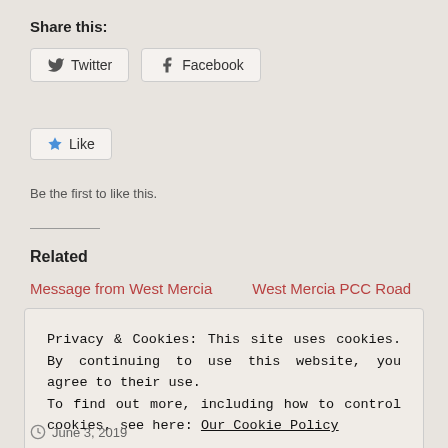Share this:
Twitter  Facebook
★ Like
Be the first to like this.
Related
Message from West Mercia    West Mercia PCC Road
Privacy & Cookies: This site uses cookies. By continuing to use this website, you agree to their use. To find out more, including how to control cookies, see here: Our Cookie Policy
Close and accept
June 3, 2019